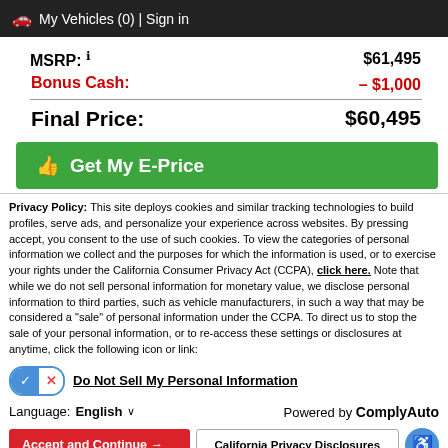🚗 My Vehicles (0) | Sign in
| Label | Value |
| --- | --- |
| MSRP: ℹ | $61,495 |
| Bonus Cash: | – $1,000 |
| Final Price: | $60,495 |
[Figure (other): Green button: 👍 Get My E-Price]
Privacy Policy: This site deploys cookies and similar tracking technologies to build profiles, serve ads, and personalize your experience across websites. By pressing accept, you consent to the use of such cookies. To view the categories of personal information we collect and the purposes for which the information is used, or to exercise your rights under the California Consumer Privacy Act (CCPA), click here. Note that while we do not sell personal information for monetary value, we disclose personal information to third parties, such as vehicle manufacturers, in such a way that may be considered a "sale" of personal information under the CCPA. To direct us to stop the sale of your personal information, or to re-access these settings or disclosures at anytime, click the following icon or link:
Do Not Sell My Personal Information
Language: English ∨   Powered by ComplyAuto
Accept and Continue →   California Privacy Disclosures